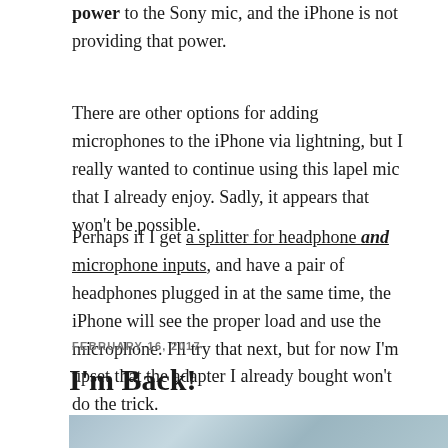power to the Sony mic, and the iPhone is not providing that power.
There are other options for adding microphones to the iPhone via lightning, but I really wanted to continue using this lapel mic that I already enjoy.  Sadly, it appears that won't be possible.
Perhaps if I get a splitter for headphone and microphone inputs, and have a pair of headphones plugged in at the same time, the iPhone will see the proper load and use the microphone.  I'll try that next, but for now I'm upset that the adapter I already bought won't do the trick.
FEBRUARY 16, 2017
I'm Back!
[Figure (photo): Partial view of a photo strip at the bottom of the page, showing a light blue-tinted image]